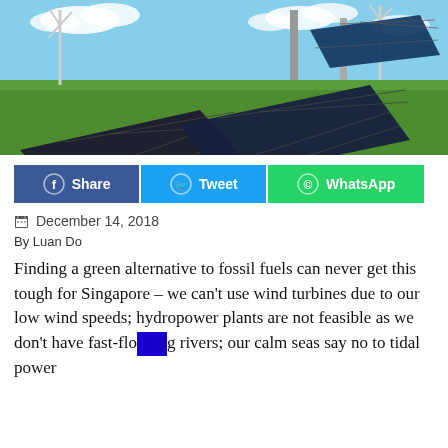[Figure (photo): Solar panels in a green field with wind turbines and industrial structures in the background under a blue sky with clouds]
Share  Tweet  WhatsApp
December 14, 2018
By Luan Do
Finding a green alternative to fossil fuels can never get this tough for Singapore – we can't use wind turbines due to our low wind speeds; hydropower plants are not feasible as we don't have fast-flowing rivers; our calm seas say no to tidal power